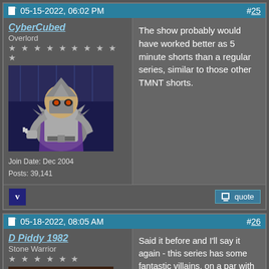05-15-2022, 06:02 PM  #25
CyberCubed
Overlord
★★★★★★★★★★
Join Date: Dec 2004
Posts: 39,141
[Figure (illustration): Avatar showing an animated character - a muscular villain in armor holding something, from TMNT animation]
The show probably would have been better as 5 minute shorts than a regular series, similar to those other TMNT shorts.
05-18-2022, 08:05 AM  #26
D Piddy 1982
Stone Warrior
★★★★★★
[Figure (illustration): Avatar showing an animated duck character with a hat, orange beak, angry expression, from a cartoon]
Said it before and I'll say it again - this series has some fantastic villains, on a par with the creativity seen in the original Fred Wolf show and Playmates toyline. Some of the Rise baddies could easily fit into past or future TMNT shows without a problem! Meat Sweats, Hypno-potamus for example.